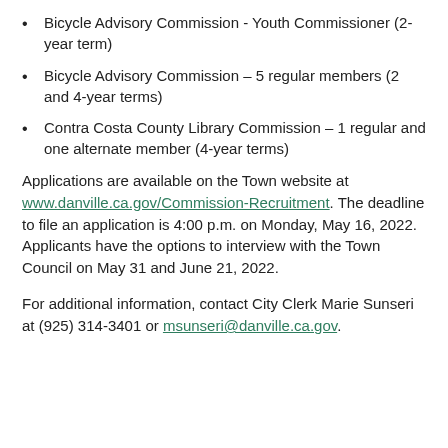Bicycle Advisory Commission - Youth Commissioner (2-year term)
Bicycle Advisory Commission – 5 regular members (2 and 4-year terms)
Contra Costa County Library Commission – 1 regular and one alternate member (4-year terms)
Applications are available on the Town website at www.danville.ca.gov/Commission-Recruitment. The deadline to file an application is 4:00 p.m. on Monday, May 16, 2022.  Applicants have the options to interview with the Town Council on May 31 and June 21, 2022.
For additional information, contact City Clerk Marie Sunseri at (925) 314-3401 or msunseri@danville.ca.gov.